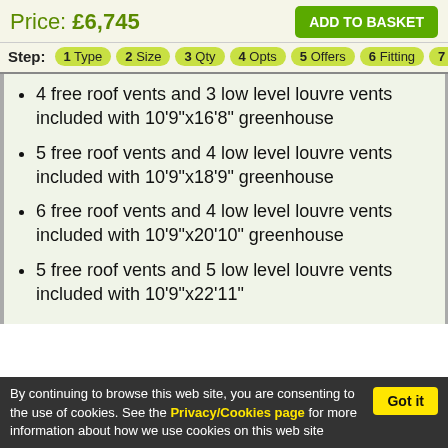Price: £6,745
ADD TO BASKET
Step: 1 Type  2 Size  3 Qty  4 Opts  5 Offers  6 Fitting  7 Accs
4 free roof vents and 3 low level louvre vents included with 10'9"x16'8" greenhouse
5 free roof vents and 4 low level louvre vents included with 10'9"x18'9" greenhouse
6 free roof vents and 4 low level louvre vents included with 10'9"x20'10" greenhouse
5 free roof vents and 5 low level louvre vents included with 10'9"x22'11"
By continuing to browse this web site, you are consenting to the use of cookies. See the Privacy/Cookies page for more information about how we use cookies on this web site